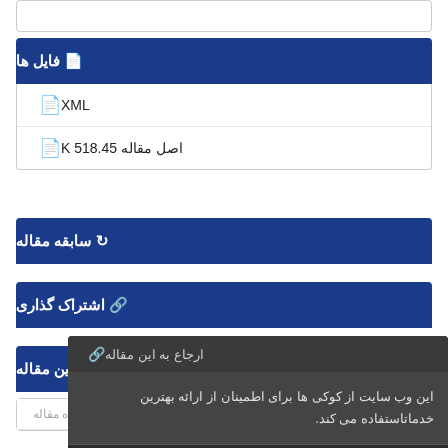فایل ها
XML
اصل مقاله 518.45 K
سابقه مقاله
اشتراک گذاری
ارجاع به این مقاله
این وب سایت از کوکی ها برای اطمینان از ارائه بهترین خدماتاستفاده می کند.
متوجه شدم
تعداد مشاهده مقاله: 348
تعداد دریافت فایل اصل مقاله: 161